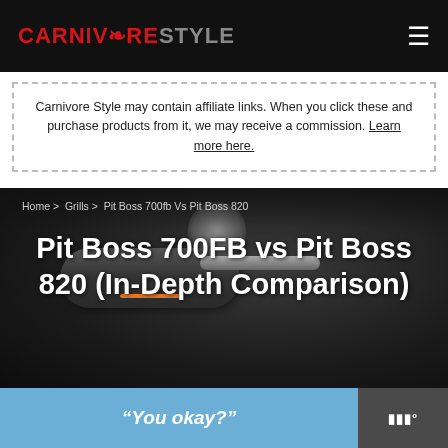CARNIVORE STYLE
Carnivore Style may contain affiliate links. When you click these and purchase products from it, we may receive a commission. Learn more here.
Home > Grills > Pit Boss 700fb Vs Pit Boss 820
Pit Boss 700FB vs Pit Boss 820 (In-Depth Comparison)
[Figure (photo): Close-up photograph of a dark/black Pit Boss pellet grill showing the hopper, handle, and temperature gauge on a dark background]
“You okay?”